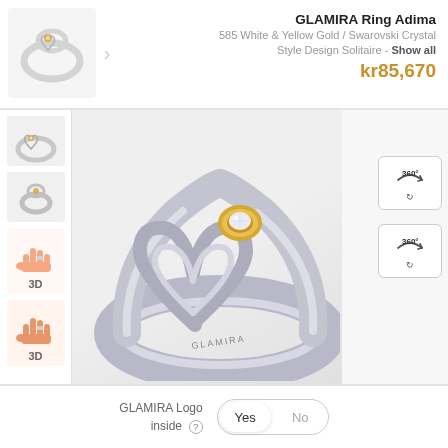GLAMIRA Ring Adima
585 White & Yellow Gold / Swarovski Crystal
Style Design Solitaire - Show all
kr85,670
[Figure (photo): Main product photo of GLAMIRA Ring Adima showing white and yellow gold ring with heart design and Swarovski crystal, close-up view]
[Figure (photo): Small thumbnail of ring from front]
[Figure (photo): Small thumbnail of ring side view]
[Figure (illustration): 3D hand view 1 with ring]
[Figure (illustration): 3D hand view 2 with ring]
GLAMIRA Logo inside [?]
Yes   No
DESIGN YOUR
GLAMIRA RING ADIMA